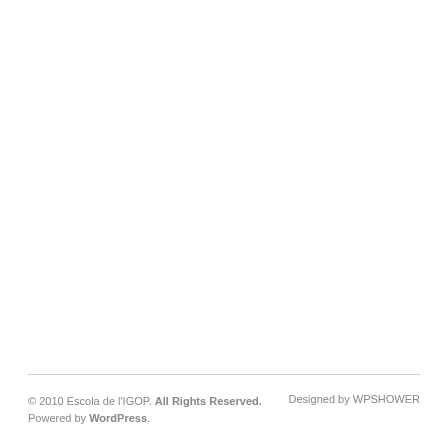© 2010 Escola de l'IGOP. All Rights Reserved. Powered by WordPress. Designed by WPSHOWER